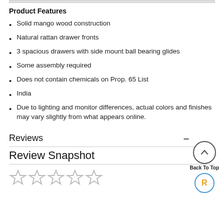Product Features
Solid mango wood construction
Natural rattan drawer fronts
3 spacious drawers with side mount ball bearing glides
Some assembly required
Does not contain chemicals on Prop. 65 List
India
Due to lighting and monitor differences, actual colors and finishes may vary slightly from what appears online.
Reviews
Review Snapshot
[Figure (other): Five empty star rating icons at the bottom of the page]